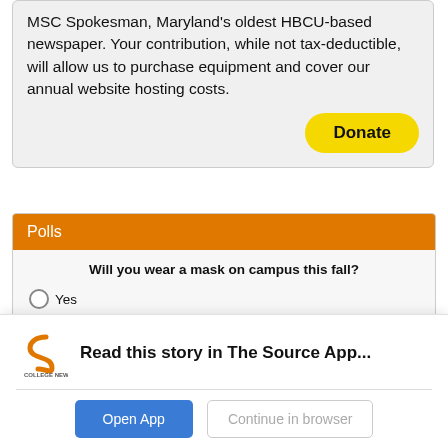MSC Spokesman, Maryland's oldest HBCU-based newspaper. Your contribution, while not tax-deductible, will allow us to purchase equipment and cover our annual website hosting costs.
Donate
Polls
Will you wear a mask on campus this fall?
Yes
No
Vote
Read this story in The Source App...
Open App
Continue in browser